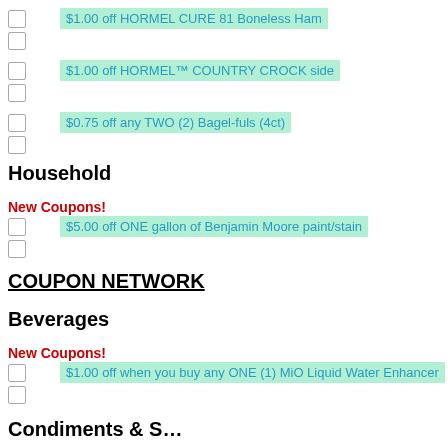$1.00 off HORMEL CURE 81 Boneless Ham
$1.00 off HORMEL™ COUNTRY CROCK side
$0.75 off any TWO (2) Bagel-fuls (4ct)
Household
New Coupons!
$5.00 off ONE gallon of Benjamin Moore paint/stain
COUPON NETWORK
Beverages
New Coupons!
$1.00 off when you buy any ONE (1) MiO Liquid Water Enhancer
Condiments & S…